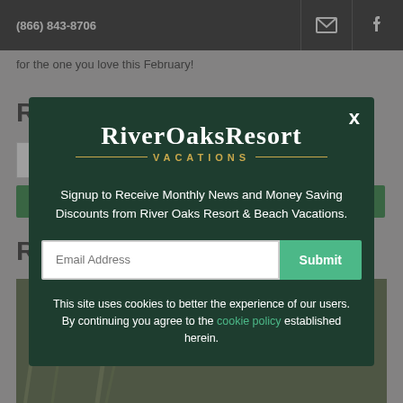(866) 843-8706
for the one you love this February!
[Figure (screenshot): Modal popup overlay for River Oaks Resort Vacations email signup. Dark green modal on greyed-out background. Contains logo, signup text, email input field with Submit button, and cookie notice.]
Signup to Receive Monthly News and Money Saving Discounts from River Oaks Resort & Beach Vacations.
This site uses cookies to better the experience of our users. By continuing you agree to the cookie policy established herein.